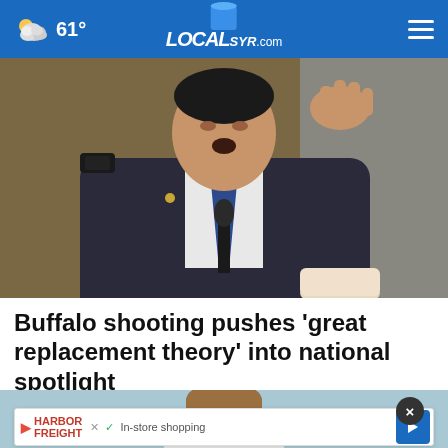61° LOCALsyr.com
[Figure (photo): A man in a dark suit and blue tie speaks at a microphone, gesturing with his hand raised, at what appears to be a congressional or government hearing.]
Buffalo shooting pushes ‘great replacement theory’ into national spotlight
[Figure (photo): Partial view of a woman with light brown hair, cropped, against a light blue background.]
22330 South Sterling Boulevard Suite 1.
HARBOR FREIGHT
In-store shopping